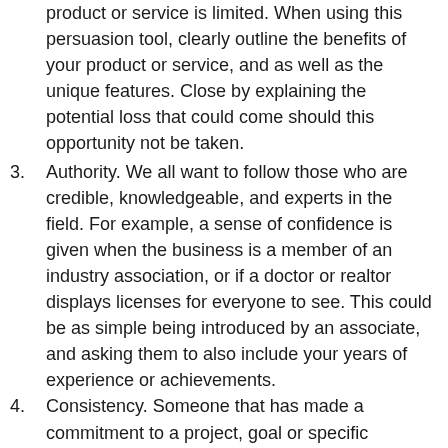product or service is limited. When using this persuasion tool, clearly outline the benefits of your product or service, and as well as the unique features. Close by explaining the potential loss that could come should this opportunity not be taken.
3. Authority. We all want to follow those who are credible, knowledgeable, and experts in the field. For example, a sense of confidence is given when the business is a member of an industry association, or if a doctor or realtor displays licenses for everyone to see. This could be as simple being introduced by an associate, and asking them to also include your years of experience or achievements.
4. Consistency. Someone that has made a commitment to a project, goal or specific objective will be ready to make additional commitments to achieve end goal. Be on the lookout for voluntary, active, and public